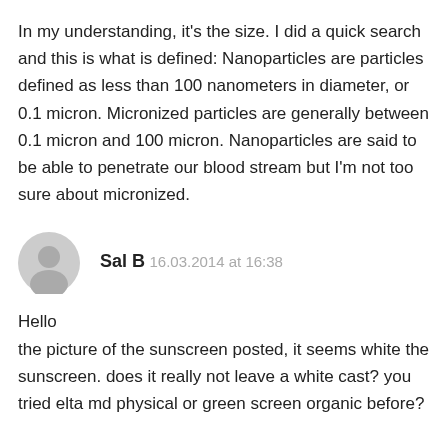In my understanding, it's the size. I did a quick search and this is what is defined: Nanoparticles are particles defined as less than 100 nanometers in diameter, or 0.1 micron. Micronized particles are generally between 0.1 micron and 100 micron. Nanoparticles are said to be able to penetrate our blood stream but I'm not too sure about micronized.
Sal B
16.03.2014 at 16:38
Hello
the picture of the sunscreen posted, it seems white the sunscreen. does it really not leave a white cast? you tried elta md physical or green screen organic before?